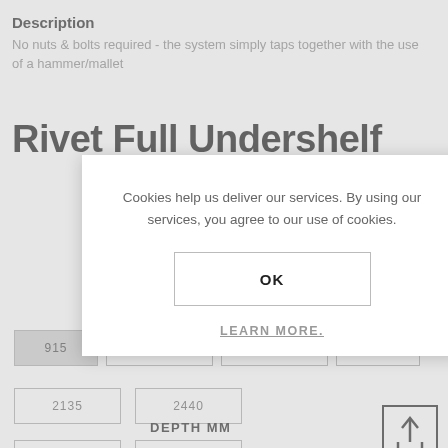Description
No nuts & bolts required - the system simply taps together with the use of a hammer/mallet
Rivet Full Undershelf
[Figure (screenshot): Cookie consent dialog overlay with OK button and LEARN MORE link, overlaying product size selection buttons showing 915, 1220, 1830 (partially visible), 2135, 2440, and DEPTH MM label, plus a share/upload button icon]
Cookies help us deliver our services. By using our services, you agree to our use of cookies.
OK
LEARN MORE.